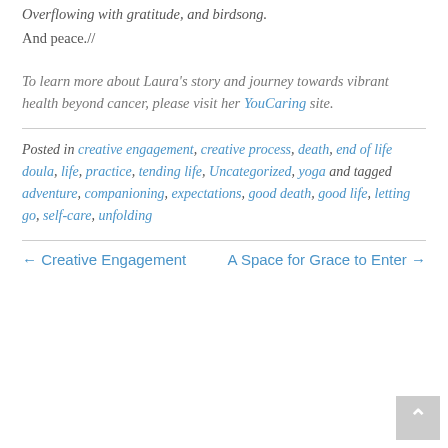Overflowing with gratitude, and birdsong.
And peace.//
To learn more about Laura's story and journey towards vibrant health beyond cancer, please visit her YouCaring site.
Posted in creative engagement, creative process, death, end of life doula, life, practice, tending life, Uncategorized, yoga and tagged adventure, companioning, expectations, good death, good life, letting go, self-care, unfolding
← Creative Engagement
A Space for Grace to Enter →